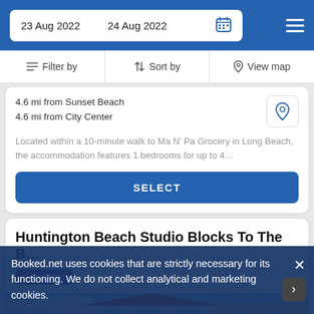23 Aug 2022   24 Aug 2022
Filter by   Sort by   View map
4.6 mi from Sunset Beach
4.6 mi from City Center
Located within a 10-minute walk to Ma N' Pa Grocery in Long Beach, the accommodation features 1 bedrooms for up to 4…
SELECT
Huntington Beach Studio Blocks To The B…
Apartment
[Figure (photo): Exterior photo of a building with red roof, palm tree, blue sky]
Booked.net uses cookies that are strictly necessary for its functioning. We do not collect analytical and marketing cookies.